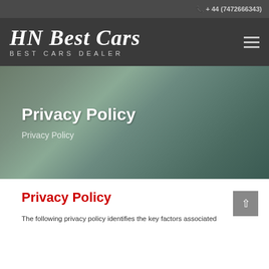+ 44 (7472666343)
[Figure (logo): HN Best Cars logo with text 'HN Best Cars' in italic script and 'BEST CARS DEALER' below in spaced capitals]
Privacy Policy
Privacy Policy
Privacy Policy
The following privacy policy identifies the key factors associated